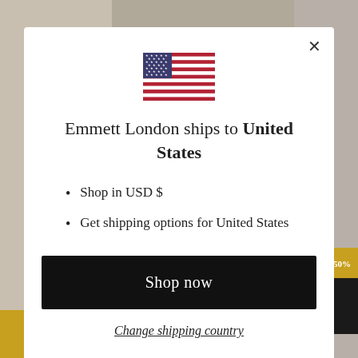[Figure (screenshot): Website modal popup on Emmett London e-commerce site showing shipping destination dialog with US flag, shipping info, and action buttons]
Emmett London ships to United States
Shop in USD $
Get shipping options for United States
Shop now
Change shipping country